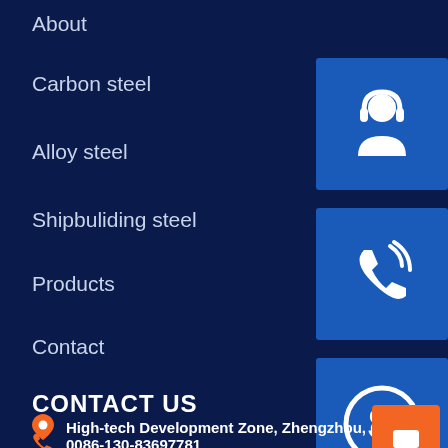About
Carbon steel
Alloy steel
Shipbuliding steel
Products
Contact
[Figure (illustration): Customer service / headset icon in blue square button]
[Figure (illustration): Phone with signal waves icon in blue square button]
[Figure (illustration): Skype icon in blue square button]
CONTACT US
High-tech Development Zone, Zhengzhou, China
0086-130-83697781
sales1service@163.com